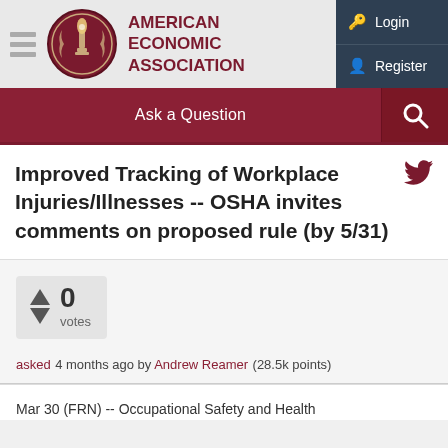AMERICAN ECONOMIC ASSOCIATION
Improved Tracking of Workplace Injuries/Illnesses -- OSHA invites comments on proposed rule (by 5/31)
0 votes
asked 4 months ago by Andrew Reamer (28.5k points)
Mar 30 (FRN) -- Occupational Safety and Health